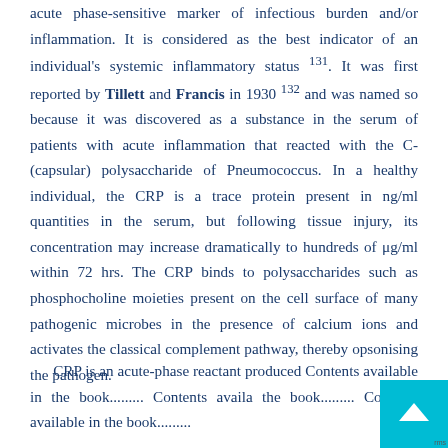acute phase-sensitive marker of infectious burden and/or inflammation. It is considered as the best indicator of an individual's systemic inflammatory status 131. It was first reported by Tillett and Francis in 1930 132 and was named so because it was discovered as a substance in the serum of patients with acute inflammation that reacted with the C-(capsular) polysaccharide of Pneumococcus. In a healthy individual, the CRP is a trace protein present in ng/ml quantities in the serum, but following tissue injury, its concentration may increase dramatically to hundreds of μg/ml within 72 hrs. The CRP binds to polysaccharides such as phosphocholine moieties present on the cell surface of many pathogenic microbes in the presence of calcium ions and activates the classical complement pathway, thereby opsonising the pathogen.
CRP is an acute-phase reactant produced... Contents available in the book......... Contents available in the book......... Contents available in the book.........